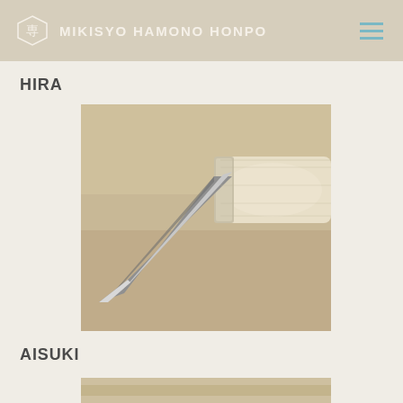MIKISYO HAMONO HONPO
HIRA
[Figure (photo): Close-up photograph of a Japanese wood carving chisel (hira nomi) with a flat metal blade and a light-colored wooden handle with a ferrule, resting on a beige/tan surface.]
AISUKI